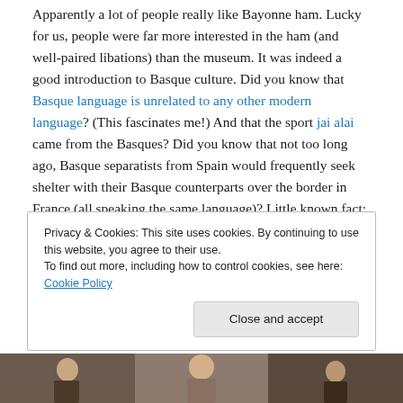Apparently a lot of people really like Bayonne ham. Lucky for us, people were far more interested in the ham (and well-paired libations) than the museum. It was indeed a good introduction to Basque culture. Did you know that Basque language is unrelated to any other modern language? (This fascinates me!) And that the sport jai alai came from the Basques? Did you know that not too long ago, Basque separatists from Spain would frequently seek shelter with their Basque counterparts over the border in France (all speaking the same language)? Little known fact: the Basques are excellent rowers, because the
Privacy & Cookies: This site uses cookies. By continuing to use this website, you agree to their use. To find out more, including how to control cookies, see here: Cookie Policy
[Figure (photo): A partial photo strip visible at the bottom of the page showing what appears to be people in traditional or period clothing, partially obscured by the cookie banner overlay.]